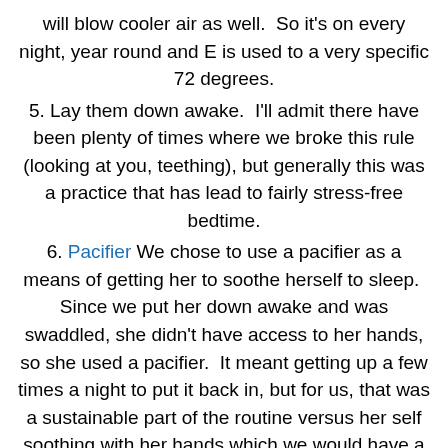will blow cooler air as well.  So it's on every night, year round and E is used to a very specific 72 degrees.
5. Lay them down awake.  I'll admit there have been plenty of times where we broke this rule (looking at you, teething), but generally this was a practice that has lead to fairly stress-free bedtime.
6. Pacifier We chose to use a pacifier as a means of getting her to soothe herself to sleep.  Since we put her down awake and was swaddled, she didn't have access to her hands, so she used a pacifier.  It meant getting up a few times a night to put it back in, but for us, that was a sustainable part of the routine versus her self soothing with her hands which we would have a hard time getting her to stop doing (and swaddling with hands in meant she slept in longer stretches).  We were sticklers that the pacifier only be used at night (she would pick out the binks